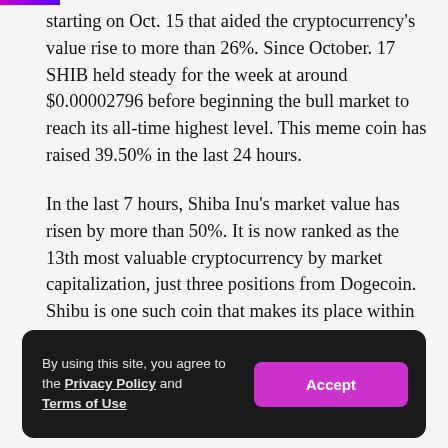starting on Oct. 15 that aided the cryptocurrency's value rise to more than 26%. Since October. 17 SHIB held steady for the week at around $0.00002796 before beginning the bull market to reach its all-time highest level. This meme coin has raised 39.50% in the last 24 hours.
In the last 7 hours, Shiba Inu's market value has risen by more than 50%. It is now ranked as the 13th most valuable cryptocurrency by market capitalization, just three positions from Dogecoin. Shibu is one such coin that makes its place within the top 20 in just a few months.
By using this site, you agree to the Privacy Policy and Terms of Use